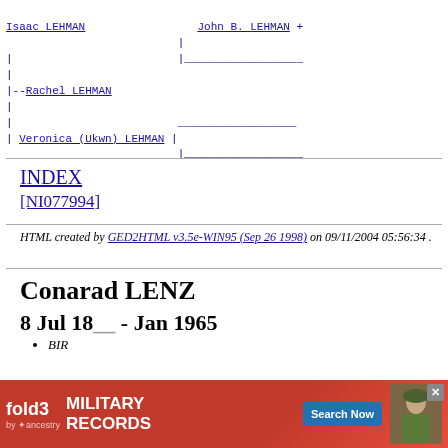[Figure (other): Genealogy tree diagram showing family relationships for Lehman family with names Isaac LEHMAN, John B. LEHMAN, Rachel LEHMAN, and Veronica (Ukwn) LEHMAN connected by lines]
INDEX
[NI077994]
HTML created by GED2HTML v3.5e-WIN95 (Sep 26 1998) on 09/11/2004 05:56:34 .
Conarad LENZ
8 Jul 18__ - Jan 1965
BIRT
[Figure (other): Advertisement banner for fold3 Military Records by Ancestry with Search Now button and soldier photo]